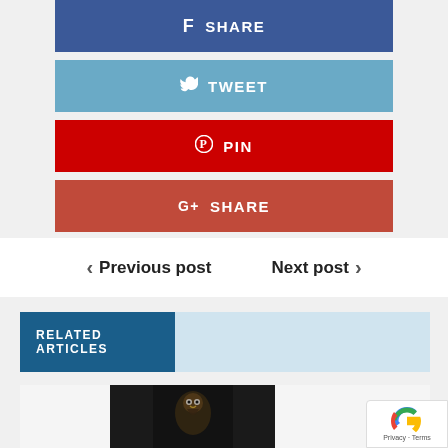[Figure (screenshot): Facebook Share button - dark blue rectangle with f icon and SHARE text in white]
[Figure (screenshot): Twitter Tweet button - light blue rectangle with bird icon and TWEET text in white]
[Figure (screenshot): Pinterest Pin button - red rectangle with Pinterest icon and PIN text in white]
[Figure (screenshot): Google Plus Share button - dark red rectangle with G+ icon and SHARE text in white]
< Previous post   Next post >
RELATED ARTICLES
[Figure (photo): Dark photo of a bird (eagle/hawk) against black background]